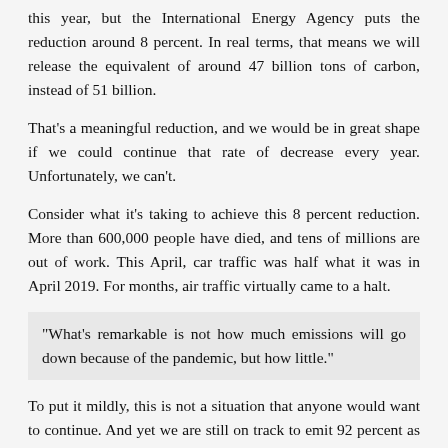this year, but the International Energy Agency puts the reduction around 8 percent. In real terms, that means we will release the equivalent of around 47 billion tons of carbon, instead of 51 billion.
That's a meaningful reduction, and we would be in great shape if we could continue that rate of decrease every year. Unfortunately, we can't.
Consider what it's taking to achieve this 8 percent reduction. More than 600,000 people have died, and tens of millions are out of work. This April, car traffic was half what it was in April 2019. For months, air traffic virtually came to a halt.
"What's remarkable is not how much emissions will go down because of the pandemic, but how little."
To put it mildly, this is not a situation that anyone would want to continue. And yet we are still on track to emit 92 percent as much carbon as we did last year. What's remarkable is not how much emissions will go down because of the pandemic, but how little.
In addition, these reductions are being achieved at, literally, the